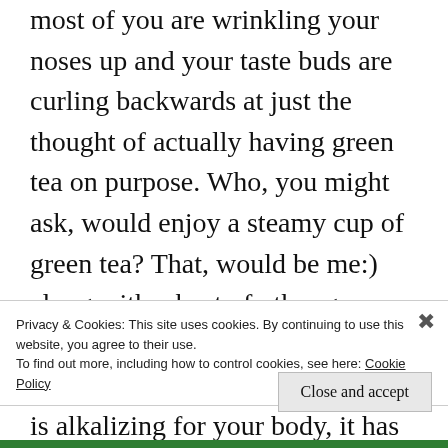most of you are wrinkling your noses up and your taste buds are curling backwards at just the thought of actually having green tea on purpose. Who, you might ask, would enjoy a steamy cup of green tea? That, would be me:) along with a host of other green tea lovers. Here's juat a few tidbits on this tea to consider. Green tea is alkalizing for your body, it has antioxidants to reduce the forming of free radicals and protects cells.  It also can improve brain function through the amino acid L-theanine which is calming.
Privacy & Cookies: This site uses cookies. By continuing to use this website, you agree to their use.
To find out more, including how to control cookies, see here: Cookie Policy
Close and accept